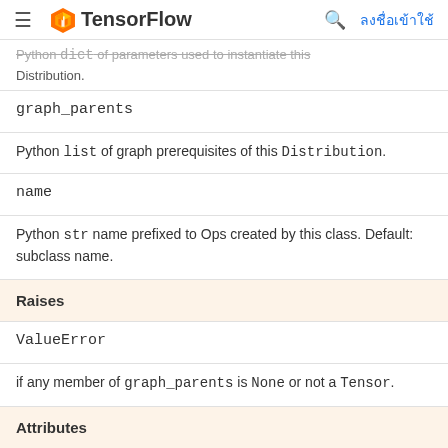TensorFlow
Python dict of parameters used to instantiate this Distribution.
graph_parents
Python list of graph prerequisites of this Distribution.
name
Python str name prefixed to Ops created by this class. Default: subclass name.
Raises
ValueError
if any member of graph_parents is None or not a Tensor.
Attributes